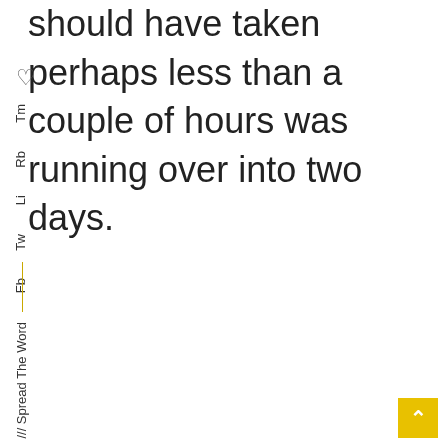should have taken perhaps less than a couple of hours was running over into two days.
[Figure (other): Heart/like icon (social sharing icon)]
Tm
Rb
Li
Tw
Fb
[Figure (other): Vertical golden/yellow line separator]
/// Spread The Word
[Figure (other): Yellow back-to-top button with upward arrow]